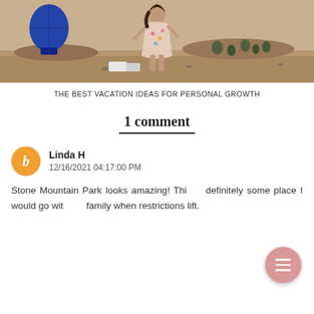[Figure (photo): Hero image showing a woman in a floral dress standing on a rocky overlook with hot air balloons and desert landscape in the background.]
THE BEST VACATION IDEAS FOR PERSONAL GROWTH
1 comment
Linda H
12/16/2021 04:17:00 PM
Stone Mountain Park looks amazing! This is definitely some place I would go with my family when restrictions lift.